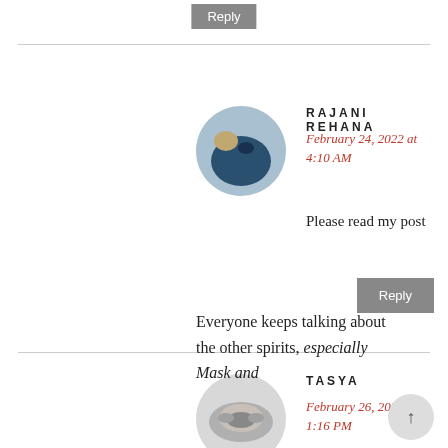Reply
RAJANI REHANA
February 24, 2022 at 4:10 AM
Please read my post
Reply
TASYA
February 26, 2022 at 1:16 PM
Everyone keeps talking about the other spirits, especially Mask and